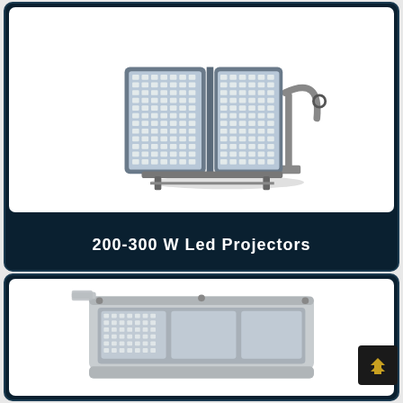[Figure (photo): 200-300W LED Projector floodlight with dual panels of LEDs, mounted on adjustable bracket, gray housing]
200-300 W Led Projectors
[Figure (photo): Partial view of a large LED street/flood light with silver/gray housing, showing the bottom portion of the fixture]